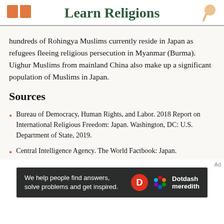Learn Religions
hundreds of Rohingya Muslims currently reside in Japan as refugees fleeing religious persecution in Myanmar (Burma). Uighur Muslims from mainland China also make up a significant population of Muslims in Japan.
Sources
Bureau of Democracy, Human Rights, and Labor. 2018 Report on International Religious Freedom: Japan. Washington, DC: U.S. Department of State, 2019.
Central Intelligence Agency. The World Factbook: Japan.
[Figure (infographic): Dotdash Meredith advertisement banner with text 'We help people find answers, solve problems and get inspired.']